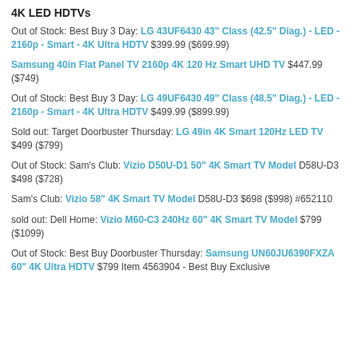4K LED HDTVs
Out of Stock: Best Buy 3 Day: LG 43UF6430 43" Class (42.5" Diag.) - LED - 2160p - Smart - 4K Ultra HDTV $399.99 ($699.99)
Samsung 40in Flat Panel TV 2160p 4K 120 Hz Smart UHD TV $447.99 ($749)
Out of Stock: Best Buy 3 Day: LG 49UF6430 49" Class (48.5" Diag.) - LED - 2160p - Smart - 4K Ultra HDTV $499.99 ($899.99)
Sold out: Target Doorbuster Thursday: LG 49in 4K Smart 120Hz LED TV $499 ($799)
Out of Stock: Sam's Club: Vizio D50U-D1 50" 4K Smart TV Model D58U-D3 $498 ($728)
Sam's Club: Vizio 58" 4K Smart TV Model D58U-D3 $698 ($998) #652110
sold out: Dell Home: Vizio M60-C3 240Hz 60" 4K Smart TV Model $799 ($1099)
Out of Stock: Best Buy Doorbuster Thursday: Samsung UN60JU6390FXZA 60" 4K Ultra HDTV $799 Item 4563904 - Best Buy Exclusive